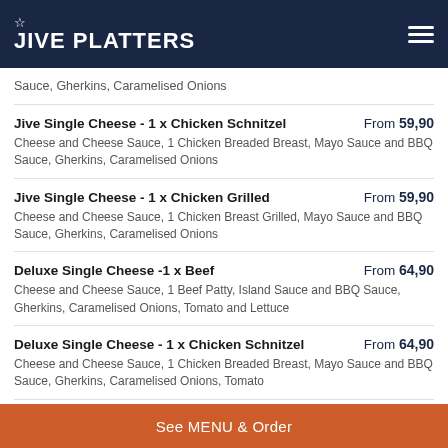JIVE PLATTERS
Sauce, Gherkins, Caramelised Onions
Jive Single Cheese - 1 x Chicken Schnitzel | From 59,90 | Cheese and Cheese Sauce, 1 Chicken Breaded Breast, Mayo Sauce and BBQ Sauce, Gherkins, Caramelised Onions
Jive Single Cheese - 1 x Chicken Grilled | From 59,90 | Cheese and Cheese Sauce, 1 Chicken Breast Grilled, Mayo Sauce and BBQ Sauce, Gherkins, Caramelised Onions
Deluxe Single Cheese -1 x Beef | From 64,90 | Cheese and Cheese Sauce, 1 Beef Patty, Island Sauce and BBQ Sauce, Gherkins, Caramelised Onions, Tomato and Lettuce
Deluxe Single Cheese - 1 x Chicken Schnitzel | From 64,90 | Cheese and Cheese Sauce, 1 Chicken Breaded Breast, Mayo Sauce and BBQ Sauce, Gherkins, Caramelised Onions, Tomato
See MENU & Order